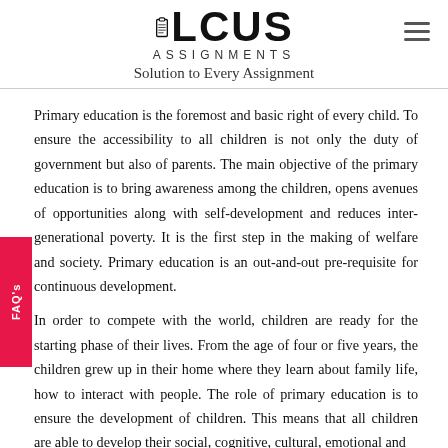LOCUS ASSIGNMENTS — Solution to Every Assignment
Primary education is the foremost and basic right of every child. To ensure the accessibility to all children is not only the duty of government but also of parents. The main objective of the primary education is to bring awareness among the children, opens avenues of opportunities along with self-development and reduces inter-generational poverty. It is the first step in the making of welfare and society. Primary education is an out-and-out pre-requisite for continuous development.
In order to compete with the world, children are ready for the starting phase of their lives. From the age of four or five years, the children grew up in their home where they learn about family life, how to interact with people. The role of primary education is to ensure the development of children. This means that all children are able to develop their social, cognitive, cultural, emotional and